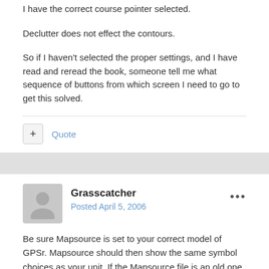I have the correct course pointer selected.
Declutter does not effect the contours.
So if I haven't selected the proper settings, and I have read and reread the book, someone tell me what sequence of buttons from which screen I need to go to get this solved.
Grasscatcher
Posted April 5, 2006
Be sure Mapsource is set to your correct model of GPSr. Mapsource should then show the same symbol choices as your unit. If the Mapsource file is an old one that was made using a different choice list then you would need to change the incompatible ones. (in Mapsource, before transfer). However, once that is done they should transfer back and forth between GPSr and Mapsource and retain the same unique